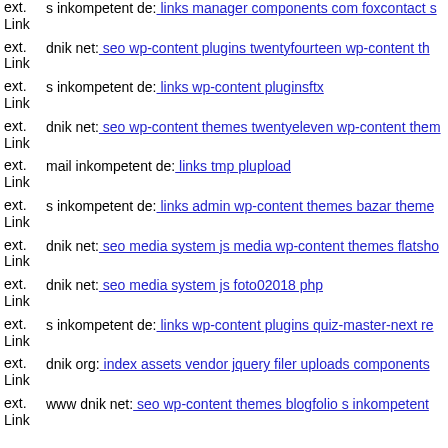ext. Link s inkompetent de: links manager components com foxcontact s
ext. Link dnik net: seo wp-content plugins twentyfourteen wp-content th
ext. Link s inkompetent de: links wp-content pluginsftx
ext. Link dnik net: seo wp-content themes twentyeleven wp-content them
ext. Link mail inkompetent de: links tmp plupload
ext. Link s inkompetent de: links admin wp-content themes bazar theme
ext. Link dnik net: seo media system js media wp-content themes flatsho
ext. Link dnik net: seo media system js foto02018 php
ext. Link s inkompetent de: links wp-content plugins quiz-master-next re
ext. Link dnik org: index assets vendor jquery filer uploads components
ext. Link www dnik net: seo wp-content themes blogfolio s inkompetent